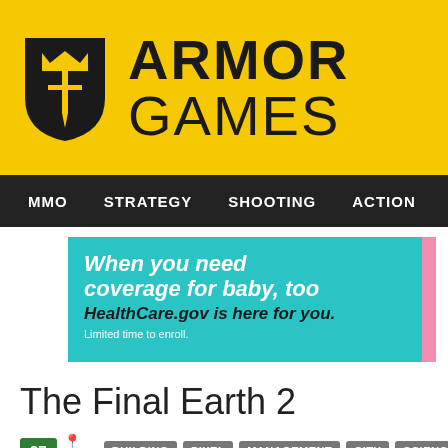[Figure (logo): Armor Games logo with yellow background, shield icon and bold text ARMOR GAMES]
MMO  STRATEGY  SHOOTING  ACTION  ADVENTURE  P
[Figure (other): Advertisement banner: When you need coverage for baby, too. HealthCare.gov is here for you. Limited time to enroll.]
The Final Earth 2
97  468K  BUILDING  PIXEL  MANAGEMENT  CITY  SCIENCE FICTION